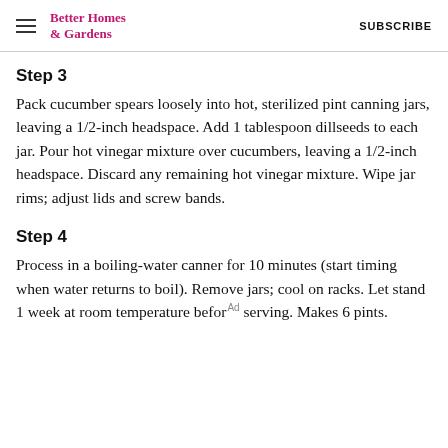Better Homes & Gardens   SUBSCRIBE
Step 3
Pack cucumber spears loosely into hot, sterilized pint canning jars, leaving a 1/2-inch headspace. Add 1 tablespoon dillseeds to each jar. Pour hot vinegar mixture over cucumbers, leaving a 1/2-inch headspace. Discard any remaining hot vinegar mixture. Wipe jar rims; adjust lids and screw bands.
Step 4
Process in a boiling-water canner for 10 minutes (start timing when water returns to boil). Remove jars; cool on racks. Let stand 1 week at room temperature before serving. Makes 6 pints.